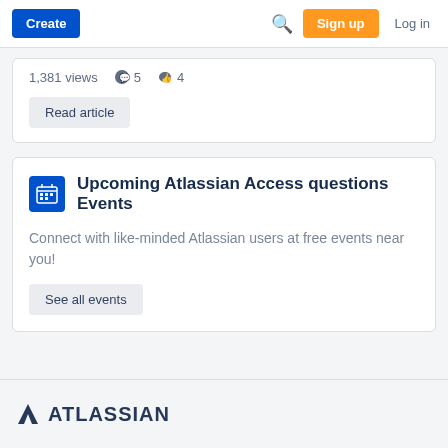Create | Sign up | Log in
1,381 views  5  4
Read article
Upcoming Atlassian Access questions Events
Connect with like-minded Atlassian users at free events near you!
See all events
ATLASSIAN